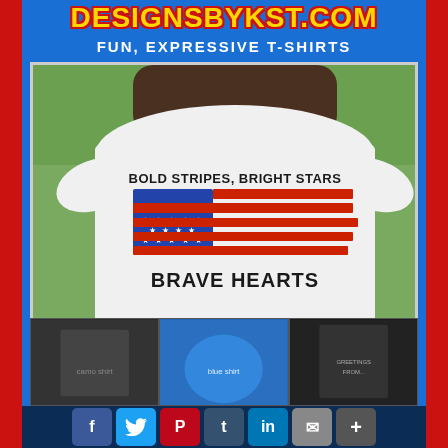DESIGNSBYKST.COM
FUN, EXPRESSIVE T-SHIRTS
[Figure (photo): Man wearing a white t-shirt with an American flag graphic. Text on shirt reads: BOLD STRIPES, BRIGHT STARS / BRAVE HEARTS]
[Figure (photo): Thumbnail: person wearing a dark camo t-shirt]
[Figure (photo): Thumbnail: person wearing a blue tie-dye t-shirt]
[Figure (photo): Thumbnail: woman wearing a black t-shirt with Greetings from... graphic]
f  Twitter  P  t  in  mail  +